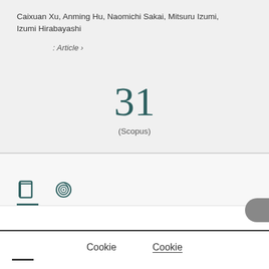Caixuan Xu, Anming Hu, Naomichi Sakai, Mitsuru Izumi, Izumi Hirabayashi
: Article ›
31
(Scopus)
[Figure (other): Tab icons: book icon and spiral/fingerprint icon, with book icon tab active (underlined in dark teal)]
Cookie
Cookie